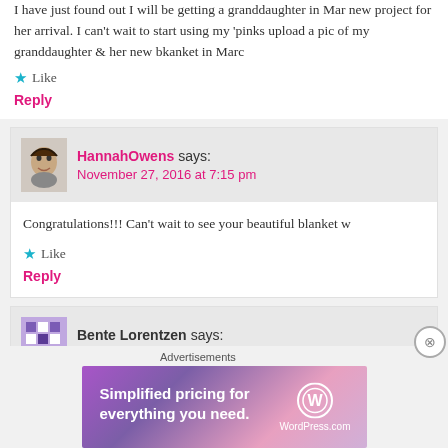I have just found out I will be getting a granddaughter in Mar... new project for her arrival. I can't wait to start using my 'pinks... upload a pic of my granddaughter & her new bkanket in Marc...
★ Like
Reply
HannahOwens says: November 27, 2016 at 7:15 pm
Congratulations!!! Can't wait to see your beautiful blanket w...
★ Like
Reply
Bente Lorentzen says: September 7, 2017 at 1:49 pm
Advertisements
[Figure (screenshot): WordPress.com advertisement banner: 'Simplified pricing for everything you need.' with WordPress logo on gradient purple/pink background]